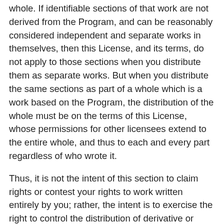whole. If identifiable sections of that work are not derived from the Program, and can be reasonably considered independent and separate works in themselves, then this License, and its terms, do not apply to those sections when you distribute them as separate works. But when you distribute the same sections as part of a whole which is a work based on the Program, the distribution of the whole must be on the terms of this License, whose permissions for other licensees extend to the entire whole, and thus to each and every part regardless of who wrote it.
Thus, it is not the intent of this section to claim rights or contest your rights to work written entirely by you; rather, the intent is to exercise the right to control the distribution of derivative or collective works based on the Program.
In addition, mere aggregation of another work not